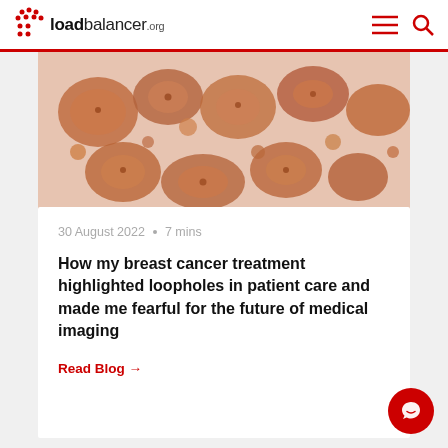loadbalancer.org
[Figure (photo): Microscopy image of breast cancer tissue with brown/orange stained clusters on light pink background (immunohistochemistry staining)]
30 August 2022 • 7 mins
How my breast cancer treatment highlighted loopholes in patient care and made me fearful for the future of medical imaging
Read Blog →